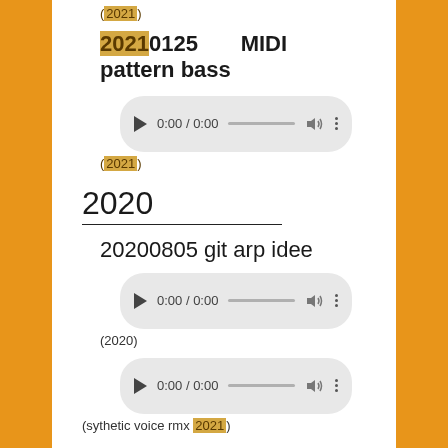(2021)
20210125   MIDI pattern bass
[Figure (other): Audio player widget showing 0:00 / 0:00 with play button, progress bar, volume icon, and menu dots]
(2021)
2020
20200805 git arp idee
[Figure (other): Audio player widget showing 0:00 / 0:00 with play button, progress bar, volume icon, and menu dots]
(2020)
[Figure (other): Audio player widget showing 0:00 / 0:00 with play button, progress bar, volume icon, and menu dots]
(sythetic voice rmx 2021)